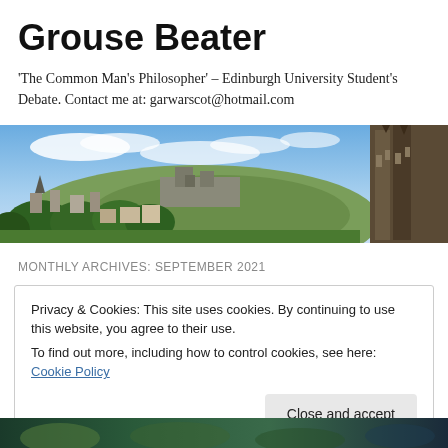Grouse Beater
'The Common Man's Philosopher' – Edinburgh University Student's Debate. Contact me at: garwarscot@hotmail.com
[Figure (photo): Panoramic photo of Edinburgh cityscape showing the castle on a hill with trees and historic buildings in the foreground, and a gothic monument on the right side, under a blue sky with clouds.]
MONTHLY ARCHIVES: SEPTEMBER 2021
Privacy & Cookies: This site uses cookies. By continuing to use this website, you agree to their use.
To find out more, including how to control cookies, see here: Cookie Policy
Close and accept
[Figure (photo): Bottom strip of a photo, partially visible, showing a dark colorful scene.]